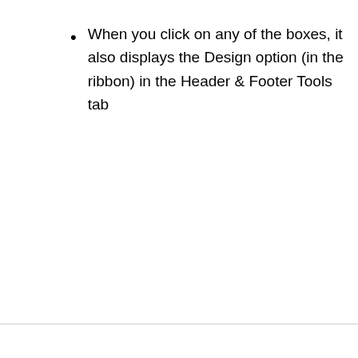When you click on any of the boxes, it also displays the Design option (in the ribbon) in the Header & Footer Tools tab